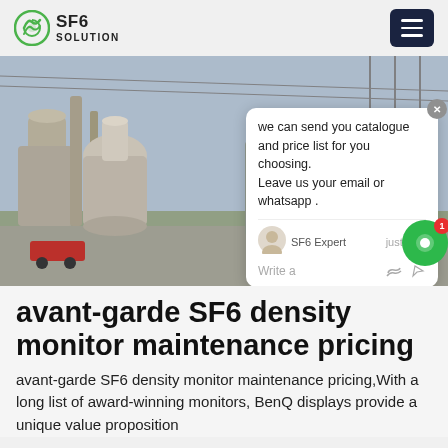SF6 SOLUTION
[Figure (photo): Outdoor electrical substation with SF6 gas-insulated switchgear, transformers, yellow truck, and power transmission infrastructure. A chat popup overlay shows: 'we can send you catalogue and price list for you choosing. Leave us your email or whatsapp .' with SF6 Expert label and 'just now' timestamp.]
avant-garde SF6 density monitor maintenance pricing
avant-garde SF6 density monitor maintenance pricing,With a long list of award-winning monitors, BenQ displays provide a unique value proposition